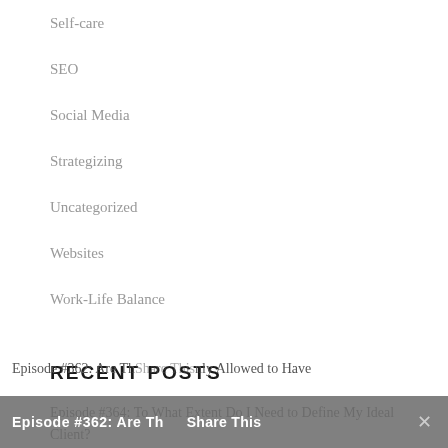Self-care
SEO
Social Media
Strategizing
Uncategorized
Websites
Work-Life Balance
RECENT POSTS
Episode #364: To What Extent Do I Need to Define My Ideal Client?
Episode #363: Money Stories & Ditching Budgeting, feat. Michelle Arpin Begina
Episode #362: Are Th...nly Allowed to Have
Share This